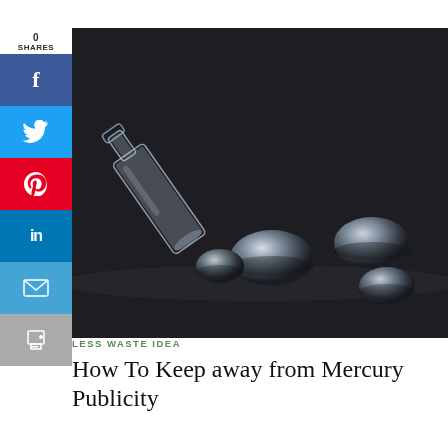[Figure (photo): A glass vial lying on its side on a dark reflective surface with several large silver mercury droplets scattered in front of it.]
0
SHARES
LESS WASTE IDEA
How To Keep away from Mercury Publicity